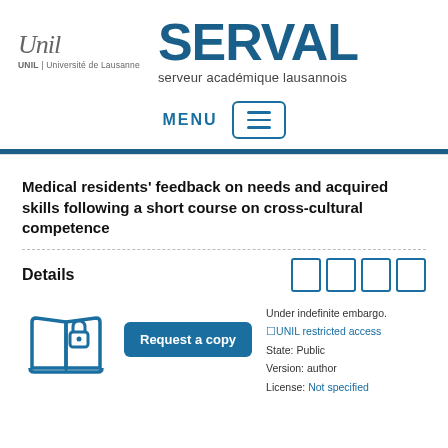[Figure (logo): UNIL Université de Lausanne logo with cursive Unil text]
[Figure (logo): SERVAL - serveur académique lausannois branding]
MENU
Medical residents' feedback on needs and acquired skills following a short course on cross-cultural competence
Details
[Figure (illustration): Book with lock icon representing restricted access]
Under indefinite embargo.
⬜UNIL restricted access
State: Public
Version: author
License: Not specified